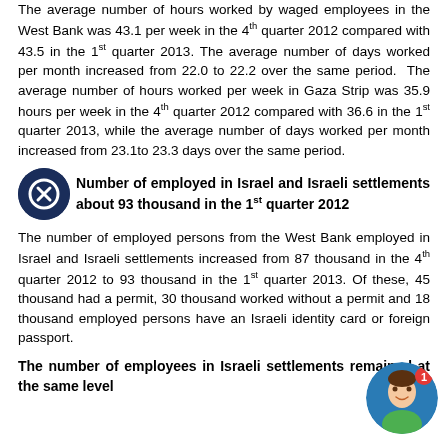The average number of hours worked by waged employees in the West Bank was 43.1 per week in the 4th quarter 2012 compared with 43.5 in the 1st quarter 2013. The average number of days worked per month increased from 22.0 to 22.2 over the same period. The average number of hours worked per week in Gaza Strip was 35.9 hours per week in the 4th quarter 2012 compared with 36.6 in the 1st quarter 2013, while the average number of days worked per month increased from 23.1to 23.3 days over the same period.
Number of employed in Israel and Israeli settlements about 93 thousand in the 1st quarter 2012
The number of employed persons from the West Bank employed in Israel and Israeli settlements increased from 87 thousand in the 4th quarter 2012 to 93 thousand in the 1st quarter 2013. Of these, 45 thousand had a permit, 30 thousand worked without a permit and 18 thousand employed persons have an Israeli identity card or foreign passport.
The number of employees in Israeli settlements remained at the same level